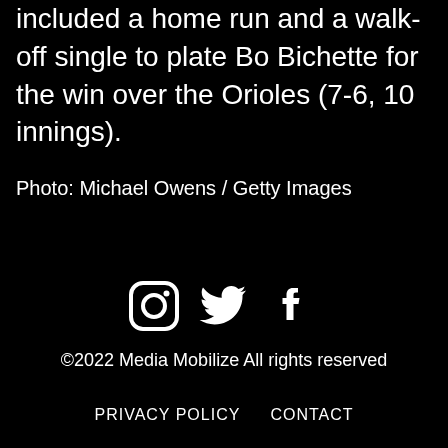included a home run and a walk-off single to plate Bo Bichette for the win over the Orioles (7-6, 10 innings).
Photo: Michael Owens / Getty Images
[Figure (illustration): Social media icons: Instagram, Twitter, Facebook]
©2022 Media Mobilize All rights reserved
PRIVACY POLICY   CONTACT